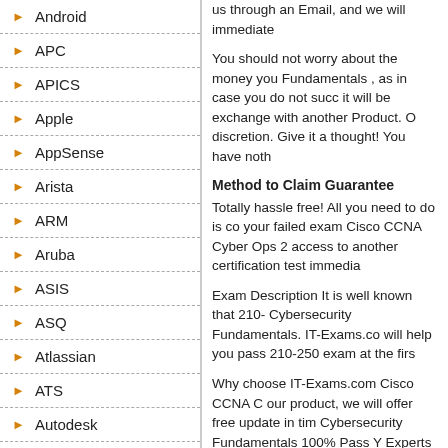Android
APC
APICS
Apple
AppSense
Arista
ARM
Aruba
ASIS
ASQ
Atlassian
ATS
Autodesk
us through an Email, and we will immediate
You should not worry about the money you Fundamentals , as in case you do not succ it will be exchange with another Product. O discretion. Give it a thought! You have noth
Method to Claim Guarantee
Totally hassle free! All you need to do is co your failed exam Cisco CCNA Cyber Ops 2 access to another certification test immedia
Exam Description It is well known that 210- Cybersecurity Fundamentals. IT-Exams.co will help you pass 210-250 exam at the firs
Why choose IT-Exams.com Cisco CCNA C our product, we will offer free update in tim Cybersecurity Fundamentals 100% Pass Y Experts Drag and Drop questions as exper are backed by our 100% guarantee update
IT-Exams.com 210-250 Exam Features
Quality and Value for the Exam
IT-Exams.com Practice Exams for CCNA C